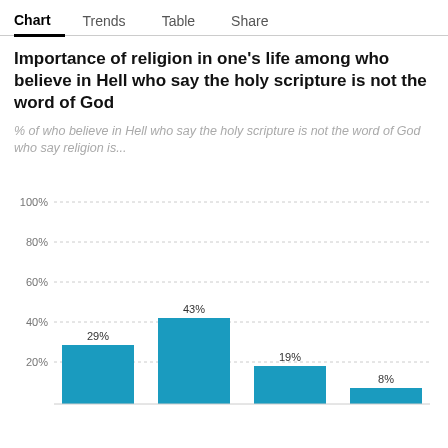Chart | Trends | Table | Share
Importance of religion in one's life among who believe in Hell who say the holy scripture is not the word of God
% of who believe in Hell who say the holy scripture is not the word of God who say religion is...
[Figure (bar-chart): Importance of religion in one's life among who believe in Hell who say the holy scripture is not the word of God]